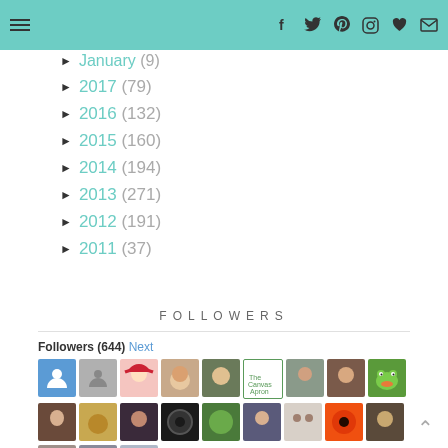Navigation header with menu and social icons
► January (9)
► 2017 (79)
► 2016 (132)
► 2015 (160)
► 2014 (194)
► 2013 (271)
► 2012 (191)
► 2011 (37)
FOLLOWERS
Followers (644) Next
[Figure (photo): Grid of follower avatar thumbnails showing profile pictures of blog followers]